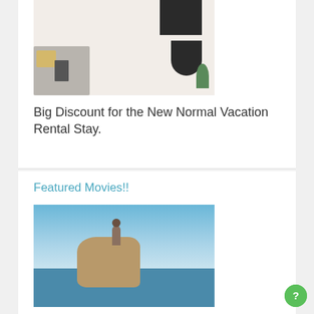[Figure (photo): Interior room photo showing a sofa with yellow pillow, a black geometric artwork/letters on white wall, a plant, and a device on a table.]
Big Discount for the New Normal Vacation Rental Stay.
Featured Movies!!
[Figure (photo): Person meditating in lotus position on a rocky cliff overlooking the ocean under a blue sky.]